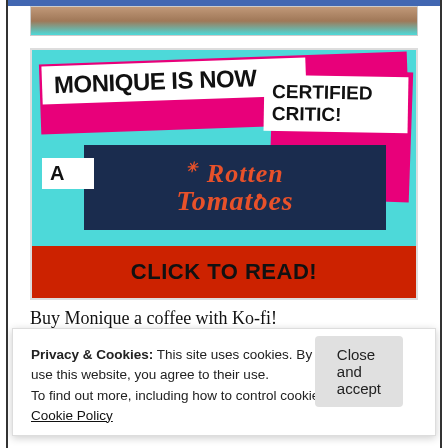[Figure (illustration): A promotional banner image with cyan background. Text reads 'MONIQUE IS NOW A Rotten Tomatoes CERTIFIED CRITIC!' with bold stylized lettering on colored boxes. Bottom red bar says 'CLICK TO READ!']
Buy Monique a coffee with Ko-fi!
[Figure (screenshot): Green Ko-fi button partially visible, labeled 'Buy Mec Coffee']
Privacy & Cookies: This site uses cookies. By continuing to use this website, you agree to their use.
To find out more, including how to control cookies, see here: Cookie Policy
Close and accept